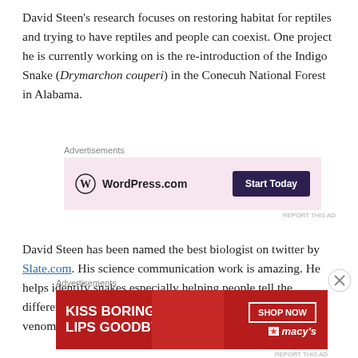David Steen's research focuses on restoring habitat for reptiles and trying to have reptiles and people can coexist. One project he is currently working on is the re-introduction of the Indigo Snake (Drymarchon couperi) in the Conecuh National Forest in Alabama.
[Figure (infographic): WordPress.com advertisement with pink background showing WordPress logo and 'Start Today' button]
David Steen has been named the best biologist on twitter by Slate.com. His science communication work is amazing. He helps identify snakes especially helping people tell the difference between Copperheads (venomous snake) and non-venomous snakes (#notacopperhead)
[Figure (infographic): Macy's 'Kiss Boring Lips Goodbye' red advertisement with SHOP NOW button]